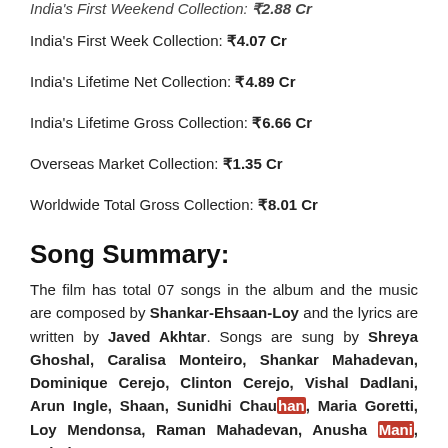India's First Weekend Collection: ₹2.88 Cr
India's First Week Collection: ₹4.07 Cr
India's Lifetime Net Collection: ₹4.89 Cr
India's Lifetime Gross Collection: ₹6.66 Cr
Overseas Market Collection: ₹1.35 Cr
Worldwide Total Gross Collection: ₹8.01 Cr
Song Summary:
The film has total 07 songs in the album and the music are composed by Shankar-Ehsaan-Loy and the lyrics are written by Javed Akhtar. Songs are sung by Shreya Ghoshal, Caralisa Monteiro, Shankar Mahadevan, Dominique Cerejo, Clinton Cerejo, Vishal Dadlani, Arun Ingle, Shaan, Sunidhi Chauhan, Maria Goretti, Loy Mendonsa, Raman Mahadevan, Anusha Mani, Rahul Saxena & K.K. (Krishnakumar Kunnath).